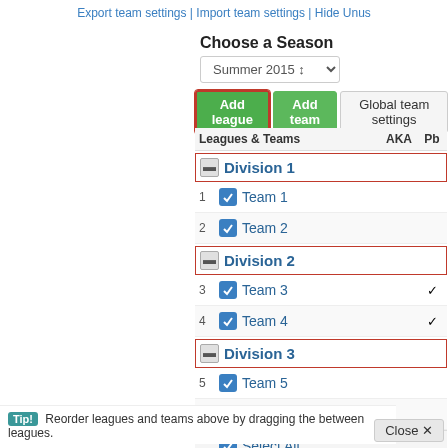Export team settings | Import team settings | Hide Unus
Choose a Season
Summer 2015 (dropdown)
Add league | Add team | Global team settings
| Leagues & Teams | AKA | Pb |
| --- | --- | --- |
| Division 1 |  |  |
| 1  Team 1 |  |  |
| 2  Team 2 |  |  |
| Division 2 |  |  |
| 3  Team 3 |  | ✔ |
| 4  Team 4 |  | ✔ |
| Division 3 |  |  |
| 5  Team 5 |  |  |
| 6  Team 6 |  |  |
| Select All |  |  |
Tip! Reorder leagues and teams above by dragging them between leagues.